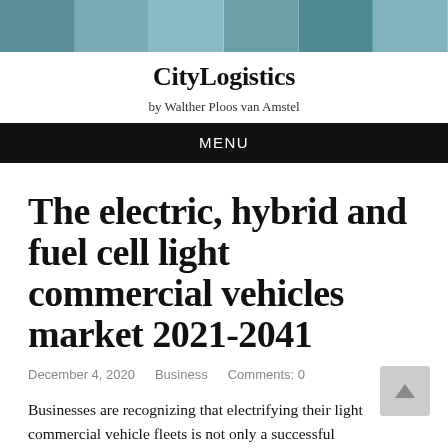[Figure (photo): Header banner with multiple person/group photos in a strip across the top]
CityLogistics
by Walther Ploos van Amstel
MENU
The electric, hybrid and fuel cell light commercial vehicles market 2021-2041
December 4, 2020   Business   Comments: 0
Businesses are recognizing that electrifying their light commercial vehicle fleets is not only a successful